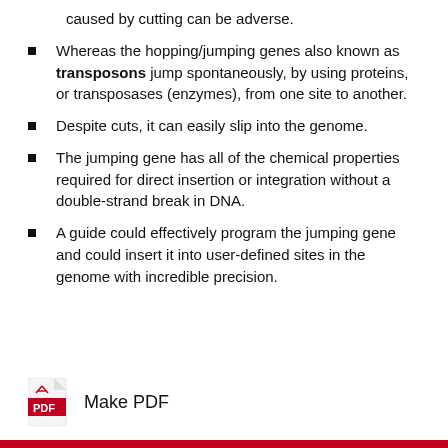caused by cutting can be adverse.
Whereas the hopping/jumping genes also known as transposons jump spontaneously, by using proteins, or transposases (enzymes), from one site to another.
Despite cuts, it can easily slip into the genome.
The jumping gene has all of the chemical properties required for direct insertion or integration without a double-strand break in DNA.
A guide could effectively program the jumping gene and could insert it into user-defined sites in the genome with incredible precision.
[Figure (logo): PDF file icon in red and white with 'PDF' text label, followed by 'Make PDF' text]